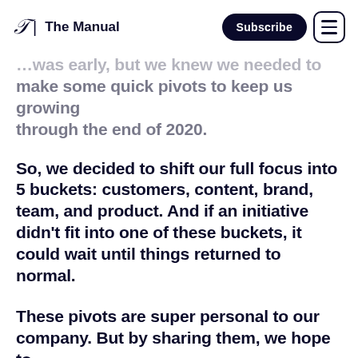T | The Manual  Subscribe [menu]
…was early, but we knew we needed to make some quick pivots to keep us growing through the end of 2020.
So, we decided to shift our full focus into 5 buckets: customers, content, brand, team, and product. And if an initiative didn't fit into one of these buckets, it could wait until things returned to normal.
These pivots are super personal to our company. But by sharing them, we hope to inspire businesses to remain agile (and give…